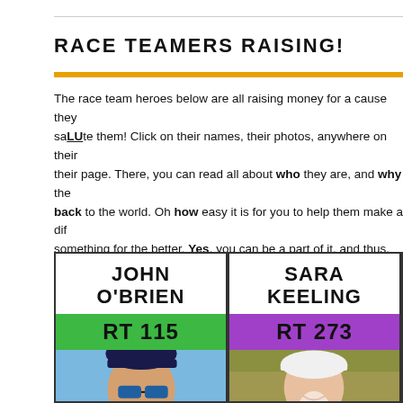rACe teAMers rAIsInG!
The race team heroes below are all raising money for a cause they saLUte them! Click on their names, their photos, anywhere on their their page. There, you can read all about who they are, and why the back to the world. Oh how easy it is for you to help them make a dif something for the better. Yes, you can be a part of it, and thus, you world! So make a difference!
[Figure (photo): Card for John O'Brien, race team member RT 115, with photo of man wearing cap and sunglasses in athletic wear]
[Figure (photo): Card for Sara Keeling, race team member RT 273, with photo of woman wearing white cap running in purple athletic top]
[Figure (photo): Partially visible third race team member card]